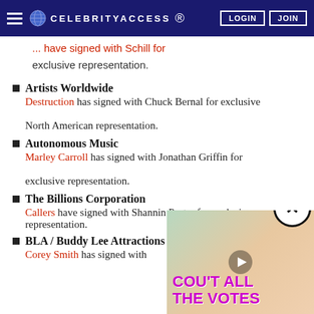CelebrityAccess — LOGIN | JOIN
... have signed with Schill for exclusive representation.
Artists Worldwide — Destruction has signed with Chuck Bernal for exclusive North American representation.
Autonomous Music — Marley Carroll has signed with Jonathan Griffin for exclusive representation.
The Billions Corporation — Callers have signed with Shannin Porter for exclusive representation.
BLA / Buddy Lee Attractions — Corey Smith has signed with ...